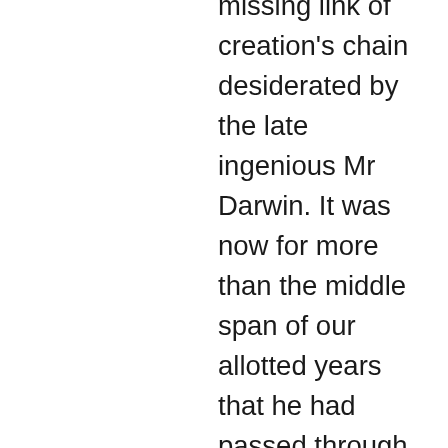missing link of creation's chain desiderated by the late ingenious Mr Darwin. It was now for more than the middle span of our allotted years that he had passed through the thousand vicissitudes of existence and, being of a wary ascendancy and self a man of rare forecast, he had enjoined his heart to repress all motions of a rising choler and, by intercepting them with the readiest precaution, foster within his breast that plenitude of sufferance which base minds jeer at, rash judgers scorn and all find tolerable and but tolerable. To those who create themselves wits at the cost of feminine delicacy (a habit of mind which he never did hold with) to